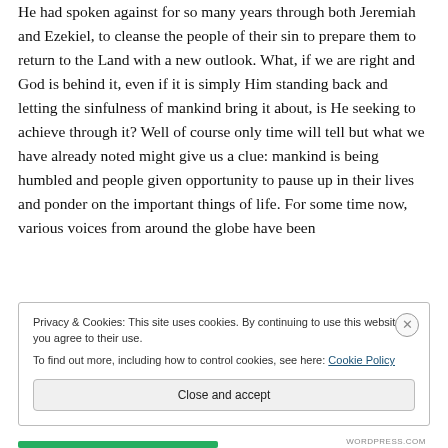He had spoken against for so many years through both Jeremiah and Ezekiel, to cleanse the people of their sin to prepare them to return to the Land with a new outlook. What, if we are right and God is behind it, even if it is simply Him standing back and letting the sinfulness of mankind bring it about, is He seeking to achieve through it? Well of course only time will tell but what we have already noted might give us a clue: mankind is being humbled and people given opportunity to pause up in their lives and ponder on the important things of life. For some time now, various voices from around the globe have been
Privacy & Cookies: This site uses cookies. By continuing to use this website, you agree to their use.
To find out more, including how to control cookies, see here: Cookie Policy